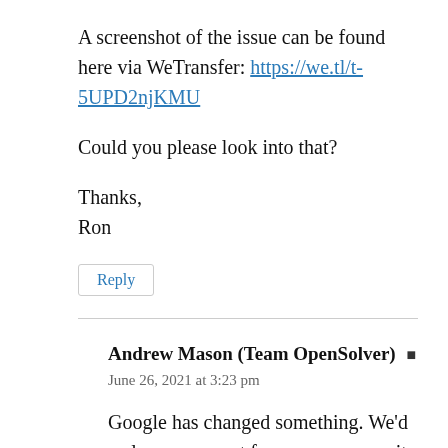A screenshot of the issue can be found here via WeTransfer: https://we.tl/t-5UPD2njKMU
Could you please look into that?
Thanks,
Ron
Reply
Andrew Mason (Team OpenSolver)
June 26, 2021 at 3:23 pm
Google has changed something. We'd welcome support from our community to